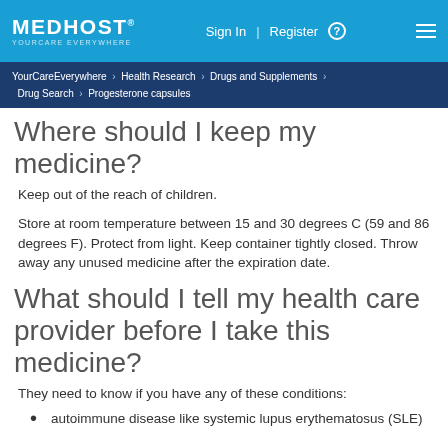MEDHOST YOURCARE EVERYWHERE | Sign In | Register | Menu
YourCareEverywhere > Health Research > Drugs and Supplements > Drug Search > Progesterone capsules
Where should I keep my medicine?
Keep out of the reach of children.
Store at room temperature between 15 and 30 degrees C (59 and 86 degrees F). Protect from light. Keep container tightly closed. Throw away any unused medicine after the expiration date.
What should I tell my health care provider before I take this medicine?
They need to know if you have any of these conditions:
autoimmune disease like systemic lupus erythematosus (SLE)